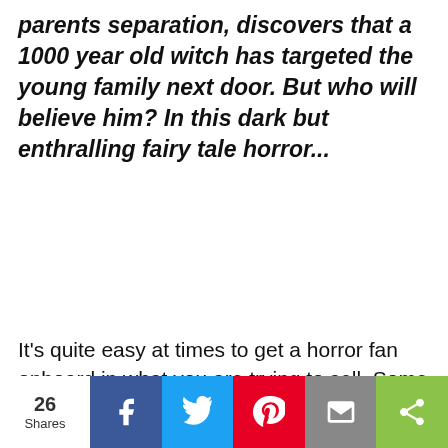parents separation, discovers that a 1000 year old witch has targeted the young family next door. But who will believe him? In this dark but enthralling fairy tale horror...
It's quite easy at times to get a horror fan onboard in what you are trying to sell. Some nostalgia plays a huge part in
[Figure (other): Social share bar with counts: 26 Shares, Facebook, Twitter, Pinterest, Email, More buttons]